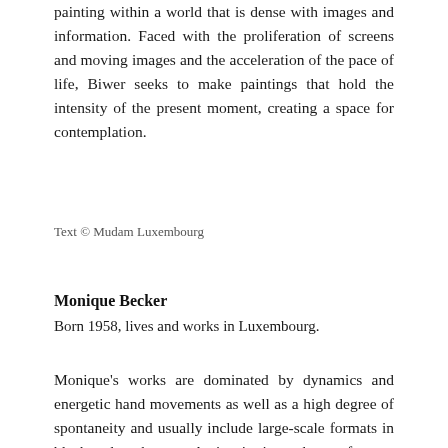painting within a world that is dense with images and information. Faced with the proliferation of screens and moving images and the acceleration of the pace of life, Biwer seeks to make paintings that hold the intensity of the present moment, creating a space for contemplation.
Text © Mudam Luxembourg
Monique Becker
Born 1958, lives and works in Luxembourg.
Monique's works are dominated by dynamics and energetic hand movements as well as a high degree of spontaneity and usually include large-scale formats in black and earth tones. An inspiration to her professors, the Austrian painter Hermann Nitsch, as well as the German painter Markus Lüpertz can certainly be seen in her work. Her works evoke a sensual intensity and are charged with emotions. For Monique, color is understood as a